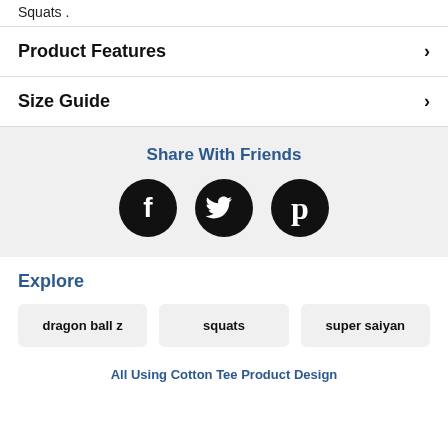Squats .
Product Features
Size Guide
Share With Friends
[Figure (infographic): Three social media icon circles: Facebook (f), Twitter (bird), Pinterest (P) — all black circles with white icons]
Explore
dragon ball z
squats
super saiyan
All Using Cotton Tee Product Design